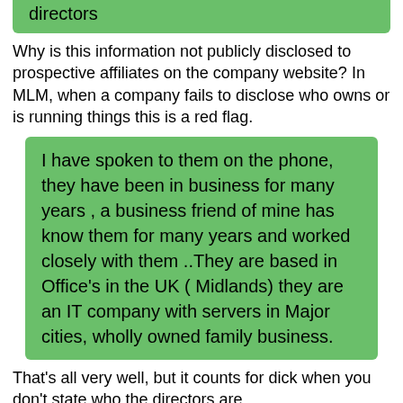directors
Why is this information not publicly disclosed to prospective affiliates on the company website? In MLM, when a company fails to disclose who owns or is running things this is a red flag.
I have spoken to them on the phone, they have been in business for many years , a business friend of mine has know them for many years and worked closely with them ..They are based in Office's in the UK (Midlands) they are an IT company with servers in Major cities, wholly owned family business.
That's all very well, but it counts for dick when you don't state who the directors are.
You spend quite a lot of time reassuring everyone the “directors” are top-notch, but then deliberately fail to reveal them.
Sniff test fail.
If you really want to find out all about it join free